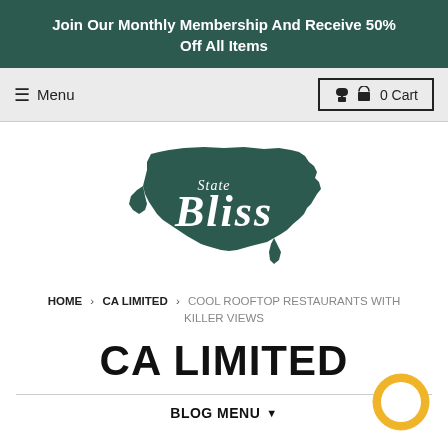Join Our Monthly Membership And Receive 50% Off All Items
≡ Menu   🔒 0 Cart
[Figure (logo): State Bliss logo — white script text 'State Bliss' on a dark green silhouette of the United States map]
HOME > CA LIMITED > COOL ROOFTOP RESTAURANTS WITH KILLER VIEWS
CA LIMITED
BLOG MENU ▼